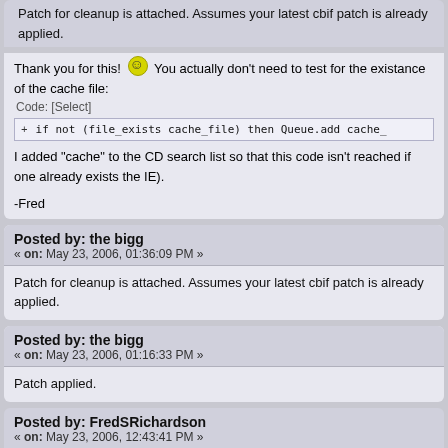Patch for cleanup is attached. Assumes your latest cbif patch is already applied.
Thank you for this! You actually don't need to test for the existance of the cache file:
Code: [Select]
+ if not (file_exists cache_file) then Queue.add cache_
I added "cache" to the CD search list so that this code isn't reached if one already exists the IE).
-Fred
Posted by: the bigg
« on: May 23, 2006, 01:36:09 PM »
Patch for cleanup is attached. Assumes your latest cbif patch is already applied.
Posted by: the bigg
« on: May 23, 2006, 01:16:33 PM »
Patch applied.
Posted by: FredSRichardson
« on: May 23, 2006, 12:43:41 PM »